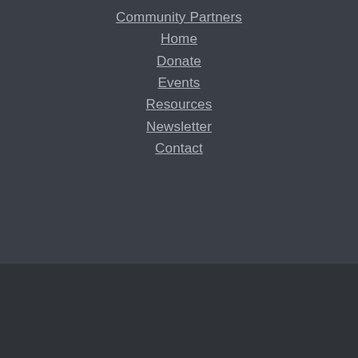Community Partners
Home
Donate
Events
Resources
Newsletter
Contact
[Figure (other): Social media icons: Twitter, Facebook, Instagram]